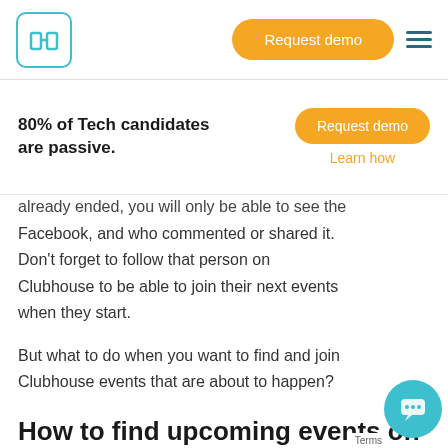Request demo
80% of Tech candidates are passive.
already ended, you will only be able to see the
Facebook, and who commented or shared it. Don't forget to follow that person on Clubhouse to be able to join their next events when they start.
But what to do when you want to find and join Clubhouse events that are about to happen?
How to find upcoming events on Clubhouse using operators